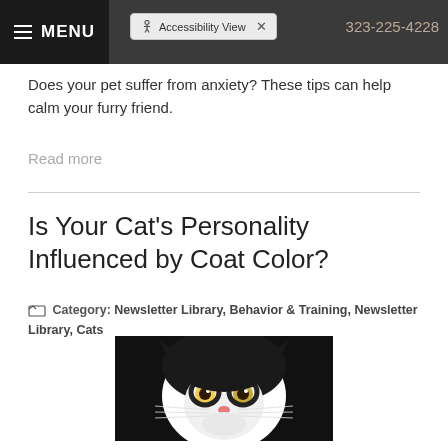MENU | Accessibility View | 323-225-4228
Does your pet suffer from anxiety? These tips can help calm your furry friend.
Read more
Is Your Cat's Personality Influenced by Coat Color?
Category: Newsletter Library, Behavior & Training, Newsletter Library, Cats
[Figure (photo): Close-up photo of a black and white cat looking directly at the camera against a dark background]